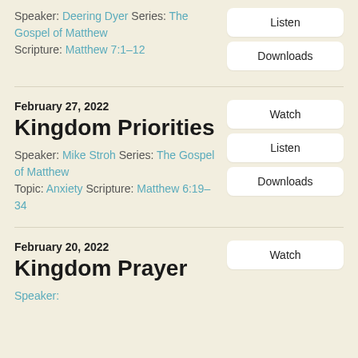Speaker: Deering Dyer Series: The Gospel of Matthew Scripture: Matthew 7:1–12
Listen
Downloads
February 27, 2022
Kingdom Priorities
Speaker: Mike Stroh Series: The Gospel of Matthew Topic: Anxiety Scripture: Matthew 6:19–34
Watch
Listen
Downloads
February 20, 2022
Kingdom Prayer
Watch